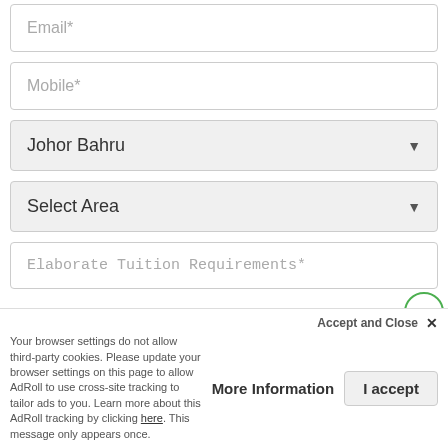Email*
Mobile*
Johor Bahru ▼
Select Area ▼
Elaborate Tuition Requirements*
We use cookies to help provide you the best experience on our website. By continuing to use our site, you constent to our use of these cookies.
I agree to the MyPrivateTutor Terms & Conditions
Accept and Close ✕
Your browser settings do not allow third-party cookies. Please update your browser settings on this page to allow AdRoll to use cross-site tracking to tailor ads to you. Learn more about this AdRoll tracking by clicking here. This message only appears once.
More Information
I accept